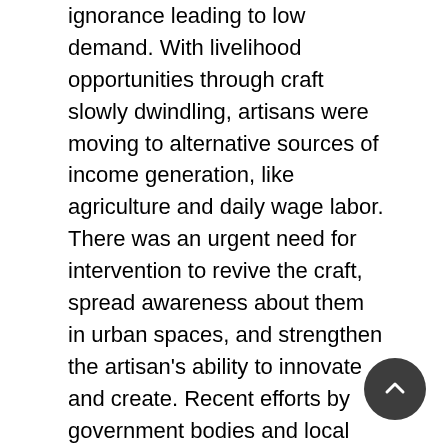ignorance leading to low demand. With livelihood opportunities through craft slowly dwindling, artisans were moving to alternative sources of income generation, like agriculture and daily wage labor. There was an urgent need for intervention to revive the craft, spread awareness about them in urban spaces, and strengthen the artisan's ability to innovate and create. Recent efforts by government bodies and local designers have given Kotpad handloom a contemporary look without diluting its essence. This research explores the possibilities to leverage Kotpad handloom to find a place in the dynamic culture of the world by its promotion among different target groups and incorporating self-sustaining practices for the artisans. This could further encourage a space for handmade and handcrafted art, rich with stories about India, with a contemporary visual sensibility. This will strengthen environmental and ethical sustainability.